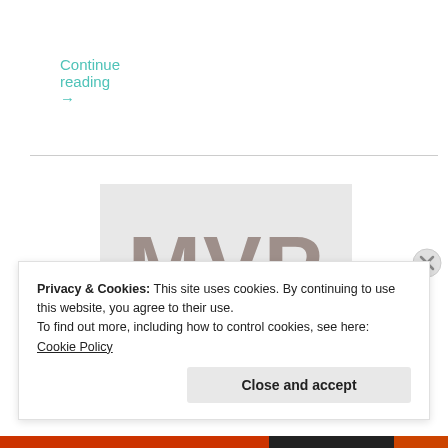Continue reading →
[Figure (other): Gray placeholder image with large bold text 'MVP' in muted brownish-gray color]
Privacy & Cookies: This site uses cookies. By continuing to use this website, you agree to their use.
To find out more, including how to control cookies, see here: Cookie Policy
Close and accept